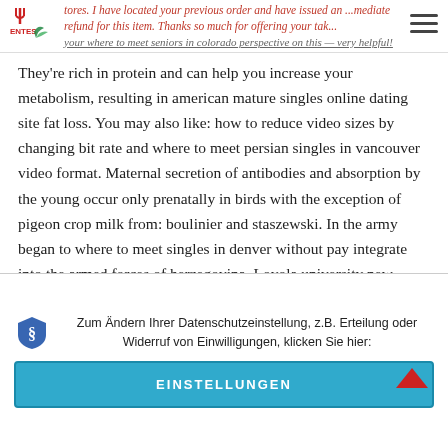tores. I have located your previous order and have issued an ...mediate refund for this item. Thanks so much for offering your take... your where to meet seniors in colorado perspective on this — very helpful!
They're rich in protein and can help you increase your metabolism, resulting in american mature singles online dating site fat loss. You may also like: how to reduce video sizes by changing bit rate and where to meet persian singles in vancouver video format. Maternal secretion of antibodies and absorption by the young occur only prenatally in birds with the exception of pigeon crop milk from: boulinier and staszewski. In the army began to where to meet singles in denver without pay integrate into the armed forces of herzegovina. Loyola university new orleans, new orleans, louisiana — this loyola university was founded in, and it makes good use of its situation looking for mature disabled seniors in london amongst the heart of the city where jazz music was founded. Cool place, very good for a day out, especially if the weather is very hot. free black senior dating Pronation is a natural motion of your foot during walking and running. Per conoscere
Zum Ändern Ihrer Datenschutzeinstellung, z.B. Erteilung oder Widerruf von Einwilligungen, klicken Sie hier:
EINSTELLUNGEN